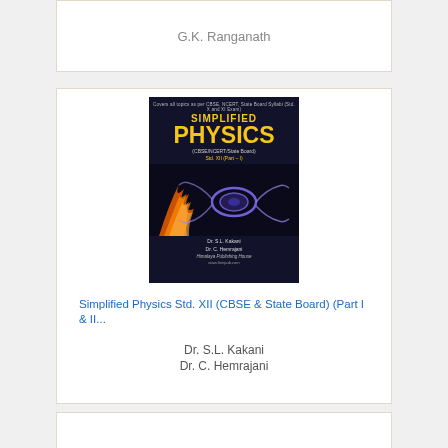G.K. Ranganath
[Figure (photo): Book cover of 'Simplified Physics' for Std. XII (CBSE/NCERT/State Board), Part I, authored by Dr. S.L. Kakani and Dr. C. Hemrajani, published by Himalaya Publishing House. Cover features yellow bold text on dark background with flame and magnetic field imagery.]
Simplified Physics Std. XII (CBSE & State Board) (Part I & II...
Dr. S.L. Kakani
Dr. C. Hemrajani